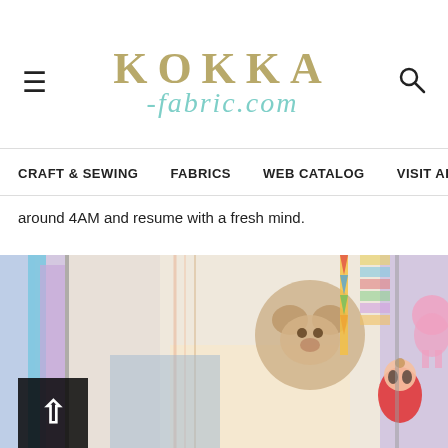KOKKA -fabric.com
CRAFT & SEWING   FABRICS   WEB CATALOG   VISIT ARTIST   T
around 4AM and resume with a fresh mind.
[Figure (photo): A colorful children's room or craft space with fabric items hanging including a teddy bear fabric panel, striped fabric, colorful bunting, a Teletubbies doll, and a pink toy elephant visible on the right.]